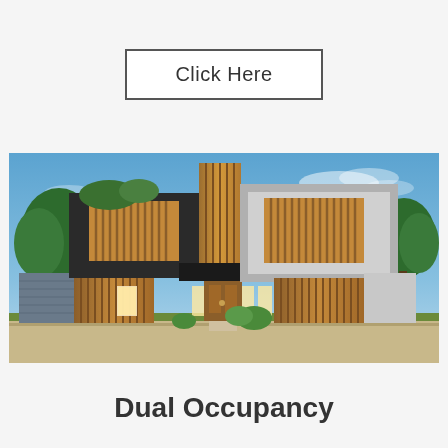Click Here
[Figure (photo): Architectural render of a modern dual occupancy home with two dwellings side by side, featuring dark and light facades with timber slat panels, brick accents, timber garage doors, and a blue sky background.]
Dual Occupancy